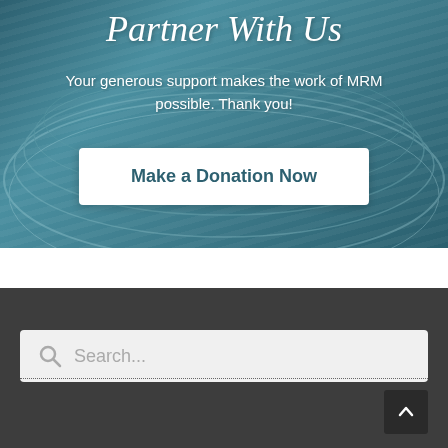[Figure (illustration): Hero section with teal/blue-green book background image and overlay]
Partner With Us
Your generous support makes the work of MRM possible. Thank you!
Make a Donation Now
Search...